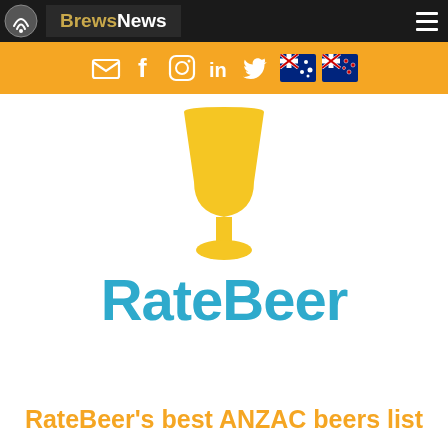BrewsNews
[Figure (logo): RateBeer logo: yellow beer goblet above blue 'RateBeer' wordmark text]
RateBeer's best ANZAC beers list